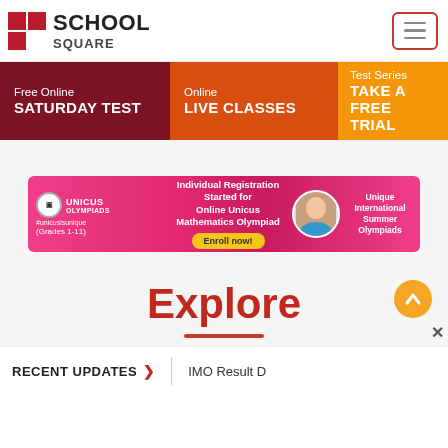[Figure (logo): School Square logo with red cross/grid icon and SCHOOL SQUARE text, plus hamburger menu button]
Free Online SATURDAY TEST
Online LIVE CLASSES
Test Series TAKE A FREE TRIAL
[Figure (infographic): Unicus Olympiads advertisement banner: Individual Registration Started for Online Unicus Mathematics Olympiad (Grades 1-11), Enroll now!, Unique International Summer Olympiads]
Explore
RECENT UPDATES > IMO Result D